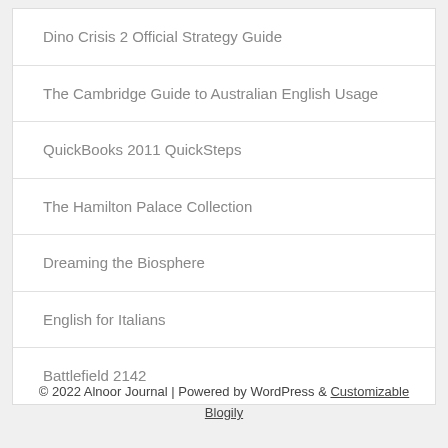Dino Crisis 2 Official Strategy Guide
The Cambridge Guide to Australian English Usage
QuickBooks 2011 QuickSteps
The Hamilton Palace Collection
Dreaming the Biosphere
English for Italians
Battlefield 2142
© 2022 Alnoor Journal | Powered by WordPress & Customizable Blogily